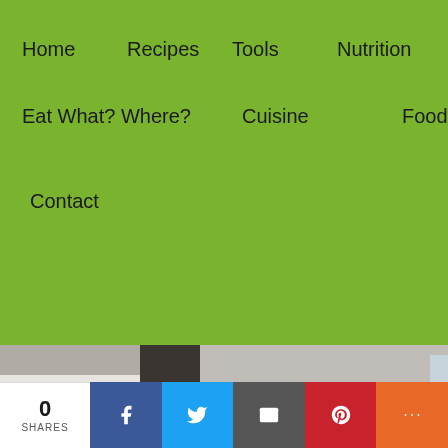Home  Recipes  Tools  Nutrition  Eat What? Where?  Cuisine  Food Culture  Contact
[Figure (photo): Partial photo of a washer machine environment, cropped at top]
10 Best Washer Machines For Apartments
in "Best Washer Machines, Washer Machines For Apartments"
[Figure (photo): Partial photo of another washer machine, cropped at bottom]
0 SHARES | Facebook | Twitter | Email | Pinterest | More